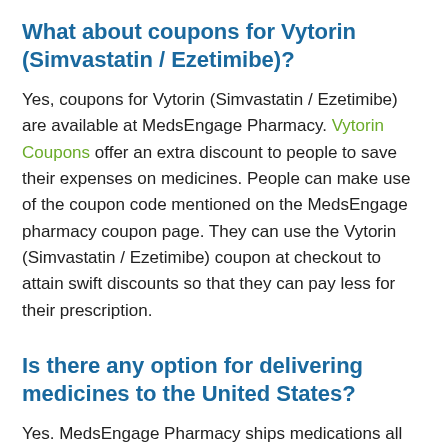What about coupons for Vytorin (Simvastatin / Ezetimibe)?
Yes, coupons for Vytorin (Simvastatin / Ezetimibe) are available at MedsEngage Pharmacy. Vytorin Coupons offer an extra discount to people to save their expenses on medicines. People can make use of the coupon code mentioned on the MedsEngage pharmacy coupon page. They can use the Vytorin (Simvastatin / Ezetimibe) coupon at checkout to attain swift discounts so that they can pay less for their prescription.
Is there any option for delivering medicines to the United States?
Yes. MedsEngage Pharmacy ships medications all around the United States of America. Once the